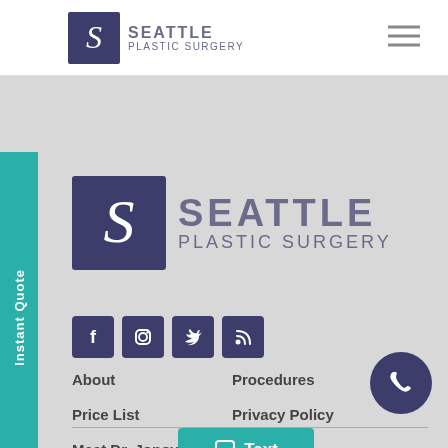Seattle Plastic Surgery
[Figure (logo): Seattle Plastic Surgery logo with stylized S in purple square and text SEATTLE PLASTIC SURGERY]
[Figure (logo): Larger Seattle Plastic Surgery logo in main content area]
Instant Quote
[Figure (infographic): Social media icons row: Facebook, Instagram, Twitter, RSS feed - all in dark purple square buttons]
About
Procedures
Price List
Privacy Policy
Meet Dr. Jonov
Site Map
HIPAA
Meet Dr. Santos
[Figure (infographic): Teal Text chat button with chat bubble icon]
[Figure (infographic): Dark purple circular phone call button with phone handset icon]